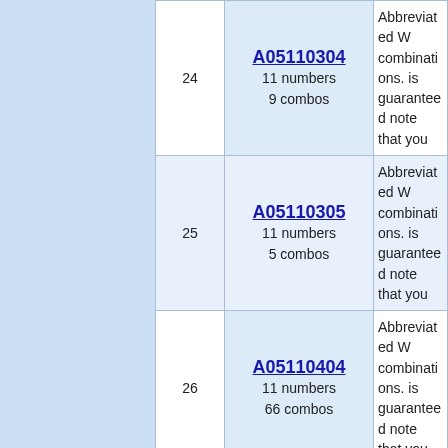| # | Code | Description |
| --- | --- | --- |
| 24 | A05110304
11 numbers
9 combos | Abbreviated W combinations. is guaranteed note that you |
| 25 | A05110305
11 numbers
5 combos | Abbreviated W combinations. is guaranteed note that you |
| 26 | A05110404
11 numbers
66 combos | Abbreviated W combinations. is guaranteed note that you |
| 27 | A05110405
11 numbers
22 combos | Abbreviated W combinations. is guaranteed note that you |
| 28 | A05120202
12 numbers
9 combos | Abbreviated W combinations. is guaranteed note that you |
| 29 | A05120303
12 numbers
29 combos | Abbreviated W combinations. is guaranteed note that you |